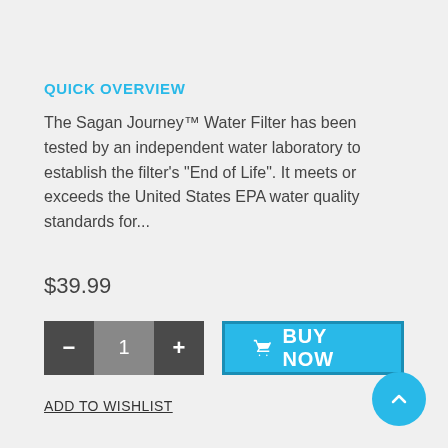QUICK OVERVIEW
The Sagan Journey™ Water Filter has been tested by an independent water laboratory to establish the filter's "End of Life". It meets or exceeds the United States EPA water quality standards for...
$39.99
[Figure (other): Quantity selector with minus and plus buttons showing value 1, and a Buy Now button with shopping cart icon]
ADD TO WISHLIST